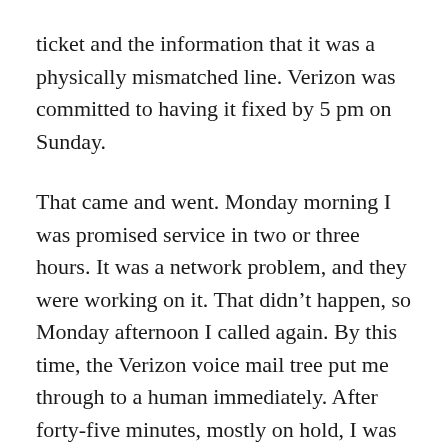ticket and the information that it was a physically mismatched line. Verizon was committed to having it fixed by 5 pm on Sunday.
That came and went. Monday morning I was promised service in two or three hours. It was a network problem, and they were working on it. That didn’t happen, so Monday afternoon I called again. By this time, the Verizon voice mail tree put me through to a human immediately. After forty-five minutes, mostly on hold, I was told it would be twenty-four to forty-eight hours.
I’m far angrier at Verizon than I am at the lack of Internet. Even if it is a widespread outage (which none